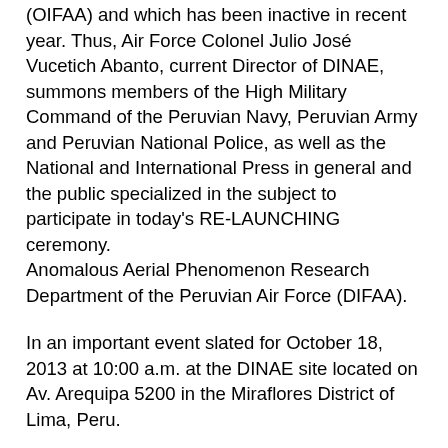(OIFAA) and which has been inactive in recent year. Thus, Air Force Colonel Julio José Vucetich Abanto, current Director of DINAE, summons members of the High Military Command of the Peruvian Navy, Peruvian Army and Peruvian National Police, as well as the National and International Press in general and the public specialized in the subject to participate in today's RE-LAUNCHING ceremony. Anomalous Aerial Phenomenon Research Department of the Peruvian Air Force (DIFAA).
In an important event slated for October 18, 2013 at 10:00 a.m. at the DINAE site located on Av. Arequipa 5200 in the Miraflores District of Lima, Peru.
ADVISORY BOARD OF DINAE – DIFAA
An agency made up entirely of civilian personnel, which in a historic event in the study of the phenomenon in Latin America and the world, concentrates in this official military department scientists and researchers specialized in the proper study and analysis of the UFO and/or extraterrestrial